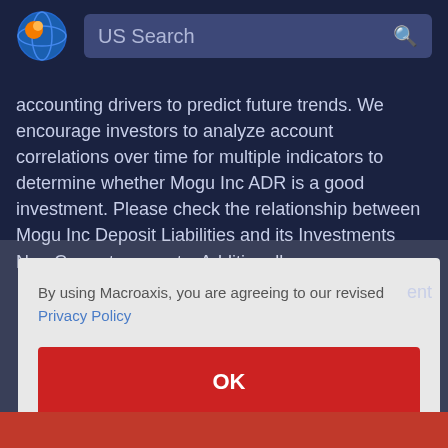[Figure (logo): Macroaxis globe logo with orange and blue colors]
US Search
accounting drivers to predict future trends. We encourage investors to analyze account correlations over time for multiple indicators to determine whether Mogu Inc ADR is a good investment. Please check the relationship between Mogu Inc Deposit Liabilities and its Investments Non Current accounts. Additionally, see
By using Macroaxis, you are agreeing to our revised Privacy Policy
OK
ent